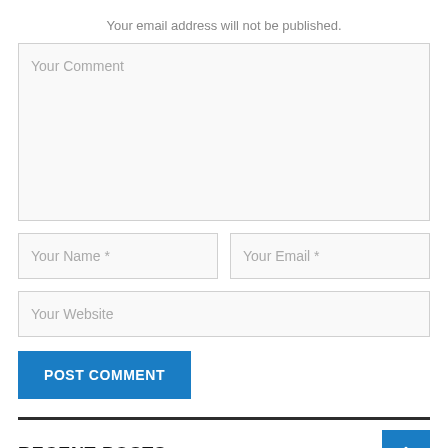Your email address will not be published.
[Figure (screenshot): Comment form with textarea labeled 'Your Comment', two side-by-side input fields labeled 'Your Name *' and 'Your Email *', a full-width input labeled 'Your Website', and a blue 'POST COMMENT' button.]
RECENT POSTS